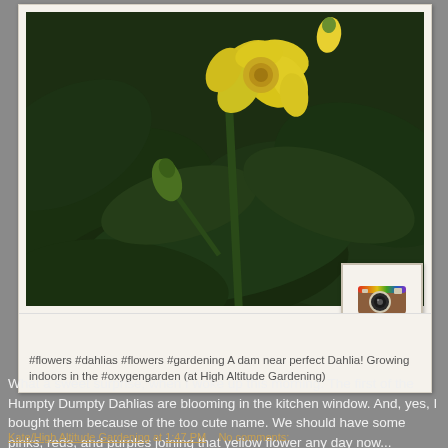[Figure (photo): Instagram post showing yellow Dahlia flowers (Humpty Dumpty Dahlias) blooming against dark green leaves, with an Instagram logo overlaid at bottom right of the photo card]
#flowers #dahlias #flowers #gardening A dam near perfect Dahlia! Growing indoors in the #oxygengarden (at High Altitude Gardening)
What a sweet surprise, when I woke up this morning. The first of the Humpty Dumpty Dahlias are blooming in the kitchen window. And, yes, I bought them because of the too cute name. We should have some pinks, reds, and purples joining that yellow flower any day now...
Kate/High Altitude Gardening at 1:47 PM    No comments: